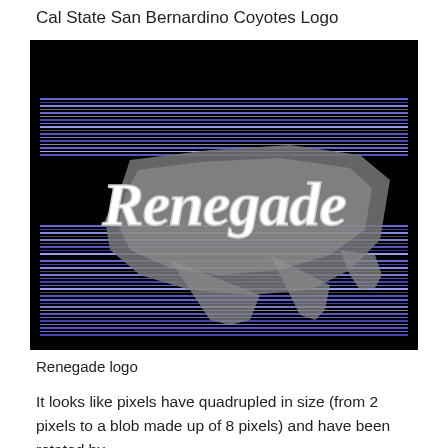Cal State San Bernardino Coyotes Logo
[Figure (illustration): Renegade logo image on a black background with horizontal blue and purple stripes. The word 'Renegade' is written in a stylized white script font with a gray pixelated shadow/outline effect beneath it.]
Renegade logo
It looks like pixels have quadrupled in size (from 2 pixels to a blob made up of 8 pixels) and have been rotated by